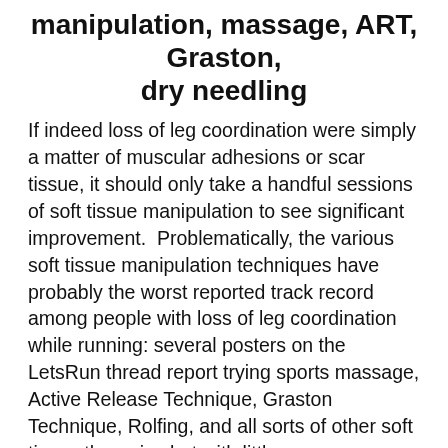manipulation, massage, ART, Graston, dry needling
If indeed loss of leg coordination were simply a matter of muscular adhesions or scar tissue, it should only take a handful sessions of soft tissue manipulation to see significant improvement.  Problematically, the various soft tissue manipulation techniques have probably the worst reported track record among people with loss of leg coordination while running: several posters on the LetsRun thread report trying sports massage, Active Release Technique, Graston Technique, Rolfing, and all sorts of other soft tissue therapies but with little or no improvement.
Verdict: It's a near certainty that people with loss of leg coordination have palpably